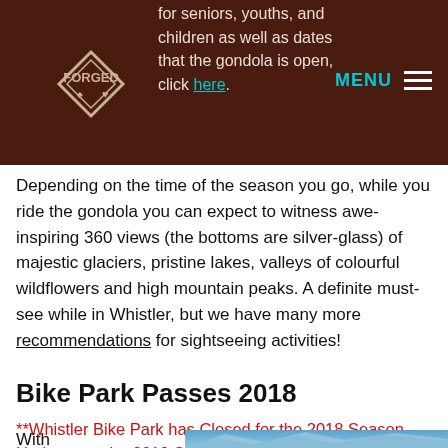for seniors, youths, and children as well as dates that the gondola is open, click here.
Depending on the time of the season you go, while you ride the gondola you can expect to witness awe-inspiring 360 views (the bottoms are silver-glass) of majestic glaciers, pristine lakes, valleys of colourful wildflowers and high mountain peaks. A definite must-see while in Whistler, but we have many more recommendations for sightseeing activities!
Bike Park Passes 2018
**Whistler Bike Park has Closed for the 2018 Season. Updates on the 2019 Season to come!
With over
[Figure (photo): Mountain landscape photo, blue sky and snow-capped peaks]